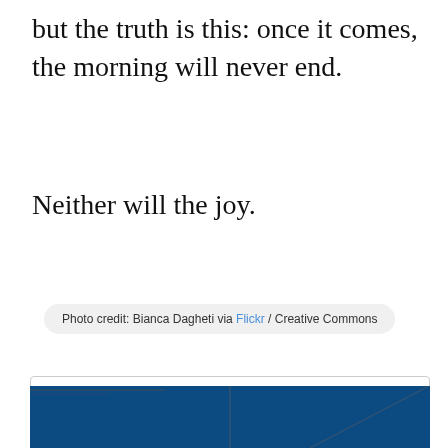but the truth is this: once it comes, the morning will never end.
Neither will the joy.
Photo credit: Bianca Dagheti via Flickr / Creative Commons
Randy Alcorn (@randyalcorn) is the author of fifty-some books and the founder and director of Eternal Perspective Ministries.
[Figure (photo): Bottom portion of a dark blue image, partially visible at the bottom of the page]